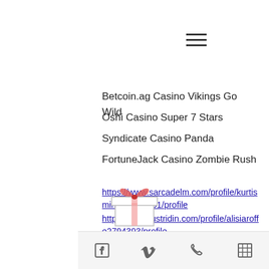[Figure (other): Hamburger menu icon (three horizontal lines)]
Betcoin.ag Casino Vikings Go Wild
Oshi Casino Super 7 Stars
Syndicate Casino Panda
FortuneJack Casino Zombie Rush
https://www.sarcadelm.com/profile/kurtismirsch3297351/profile
https://www.justridin.com/profile/alisiaroffe2794393/profile
https://www.a22firma.com/profile/lottiekochevar10922172/profile
https://www.ishandash.com/profile/marybethhurni19067342/profile
[Figure (illustration): Partial gift box illustration with pink ribbon at bottom of page]
Footer navigation bar with Facebook, Vimeo, phone, and table/grid icons